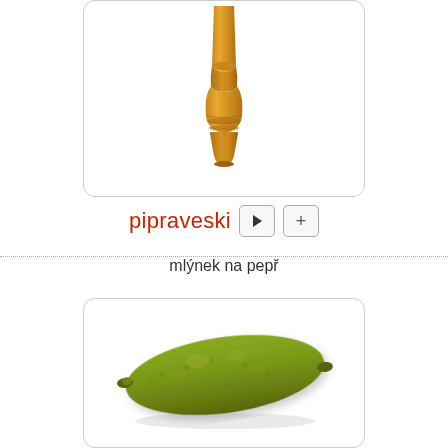[Figure (photo): Wooden pepper mill / grinder, bottom portion visible in a rounded rectangle card]
pipraveski
mlýnek na pepř
[Figure (photo): A green pickle / gherkin on white background inside a rounded rectangle card]